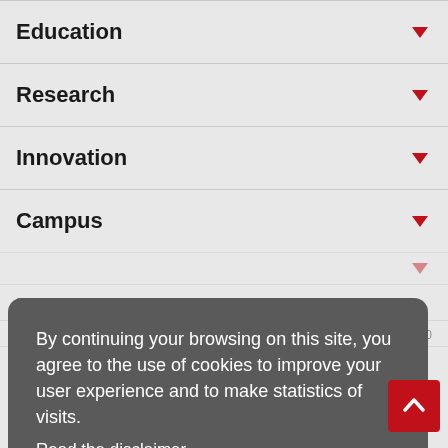Education
Research
Innovation
Campus
By continuing your browsing on this site, you agree to the use of cookies to improve your user experience and to make statistics of visits.
Read the disclaimer
OK
Practical
Services & Resources
Emergencies: +41 21 693 3000
Contact
Map
Follow EPFL on social media